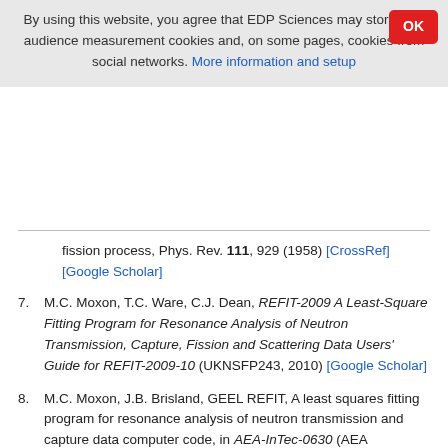By using this website, you agree that EDP Sciences may store web audience measurement cookies and, on some pages, cookies from social networks. More information and setup
fission process, Phys. Rev. 111, 929 (1958) [CrossRef] [Google Scholar]
7. M.C. Moxon, T.C. Ware, C.J. Dean, REFIT-2009 A Least-Square Fitting Program for Resonance Analysis of Neutron Transmission, Capture, Fission and Scattering Data Users' Guide for REFIT-2009-10 (UKNSFP243, 2010) [Google Scholar]
8. M.C. Moxon, J.B. Brisland, GEEL REFIT, A least squares fitting program for resonance analysis of neutron transmission and capture data computer code, in AEA-InTec-0630 (AEA Technology, 1991) [Google Scholar]
9. P. Archier et al., CONRAD evaluation code: development status and perspectives, in Proc. of the International